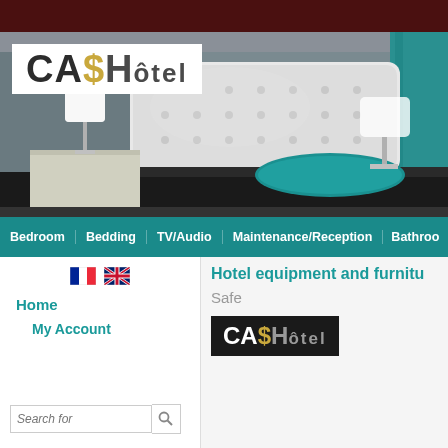[Figure (logo): CASHôtel logo - stylized text with dollar sign in place of S, dark background header with hotel room photo]
[Figure (photo): Hotel bedroom with white tufted headboard, black bedding, teal pillow, white bedside lamps, gray walls]
Bedroom   Bedding   TV/Audio   Maintenance/Reception   Bathroom
Home
My Account
Search for
Hotel equipment and furniture
Safe
[Figure (logo): CASHôtel logo on dark background]